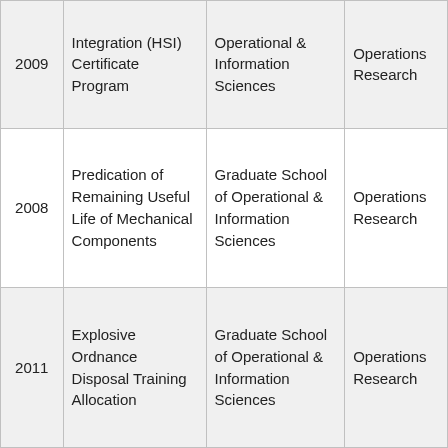| 2009 | Integration (HSI) Certificate Program | Operational & Information Sciences | Operations Research |
| 2008 | Predication of Remaining Useful Life of Mechanical Components | Graduate School of Operational & Information Sciences | Operations Research |
| 2011 | Explosive Ordnance Disposal Training Allocation | Graduate School of Operational & Information Sciences | Operations Research |